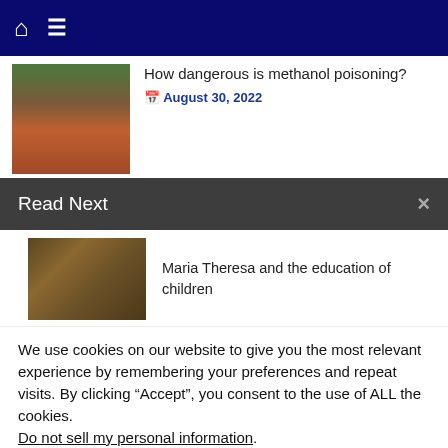Navigation bar with home icon and menu icon
How dangerous is methanol poisoning?
August 30, 2022
Read Next
Maria Theresa and the education of children
We use cookies on our website to give you the most relevant experience by remembering your preferences and repeat visits. By clicking “Accept”, you consent to the use of ALL the cookies. Do not sell my personal information.
Cookie Settings
Accept